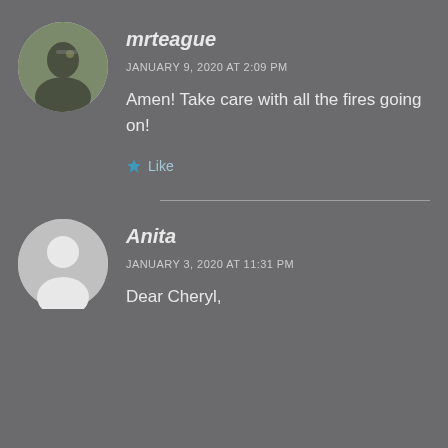mrteague
JANUARY 9, 2020 AT 2:09 PM
Amen! Take care with all the fires going on!
Like
Anita
JANUARY 3, 2020 AT 11:31 PM
Dear Cheryl,